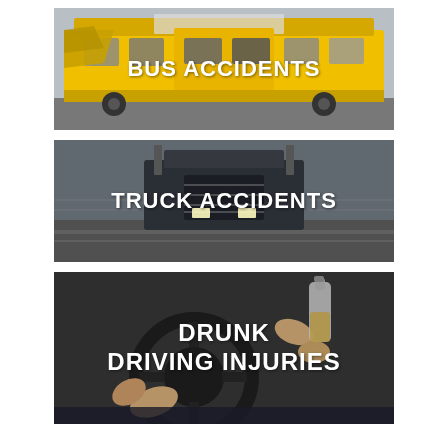[Figure (photo): Damaged yellow bus with crumpled front end, accident scene]
[Figure (photo): Large semi truck on highway viewed from below, motion blur]
[Figure (photo): Person holding alcohol bottle while gripping steering wheel]